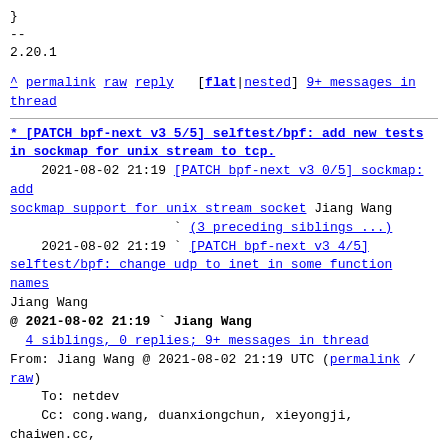}
--
2.20.1
^ permalink raw reply [flat|nested] 9+ messages in thread
* [PATCH bpf-next v3 5/5] selftest/bpf: add new tests in sockmap for unix stream to tcp.
  2021-08-02 21:19 [PATCH bpf-next v3 0/5] sockmap: add sockmap support for unix stream socket Jiang Wang
                   ` (3 preceding siblings ...)
  2021-08-02 21:19 ` [PATCH bpf-next v3 4/5] selftest/bpf: change udp to inet in some function names Jiang Wang
@ 2021-08-02 21:19 ` Jiang Wang
  4 siblings, 0 replies; 9+ messages in thread
From: Jiang Wang @ 2021-08-02 21:19 UTC (permalink / raw)
  To: netdev
  Cc: cong.wang, duanxiongchun, xieyongji, chaiwen.cc, John Fastabend,
        David S. Miller, Jakub Kicinski, Daniel Borkmann, Jakub Sitnicki,
          Lorenz Bauer, Alexei Starovoitov, Andrii Nakryiko,
            Martin KaFai Lau, Song Liu, Yonghong Song, KP Singh, Shuah Khan,